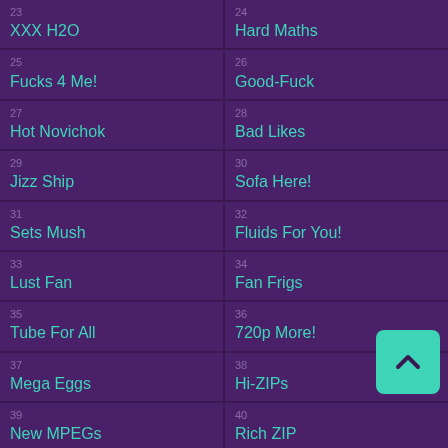23 XXX H2O
24 Hard Maths
25 Fucks 4 Me!
26 Good-Fuck
27 Hot Novichok
28 Bad Likes
29 Jizz Ship
30 Sofa Here!
31 Sets Mush
32 Fluids For You!
33 Lust Fan
34 Fan Frigs
35 Tube For All
36 720p More!
37 Mega Eggs
38 Hi-ZIPs
39 New MPEGs
40 Rich ZIP